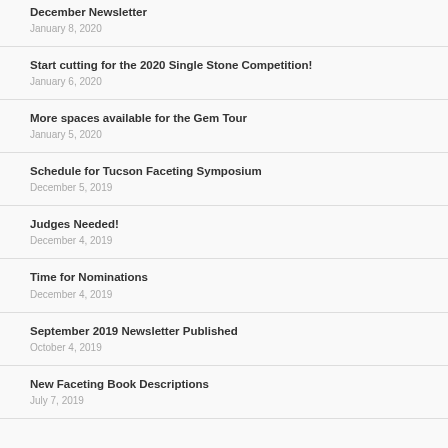December Newsletter
January 8, 2020
Start cutting for the 2020 Single Stone Competition!
January 6, 2020
More spaces available for the Gem Tour
January 5, 2020
Schedule for Tucson Faceting Symposium
December 5, 2019
Judges Needed!
December 4, 2019
Time for Nominations
December 4, 2019
September 2019 Newsletter Published
October 4, 2019
New Faceting Book Descriptions
July 7, 2019